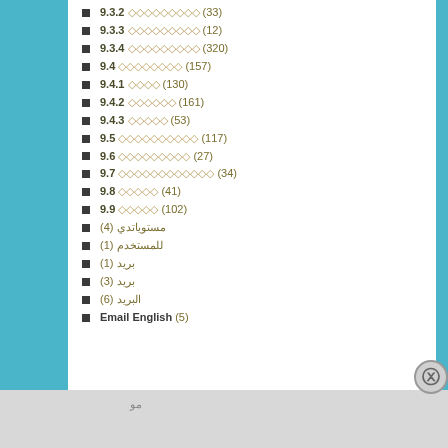9.3.2 xxxxxxxxx (33)
9.3.3 xxxxxxxxx (12)
9.3.4 xxxxxxxxx (320)
9.4 xxxxxxxxx (157)
9.4.1 xxxx (130)
9.4.2 xxxxxx (161)
9.4.3 xxxxx (53)
9.5 xxxxxxxxxx (117)
9.6 xxxxxxxxx (27)
9.7 xxxxxxxxxxxx (34)
9.8 xxxxx (41)
9.9 xxxxx (102)
Arabic text (4)
Arabic text (1)
Arabic text (1)
Arabic text (3)
Arabic text (6)
Email English (5)
II